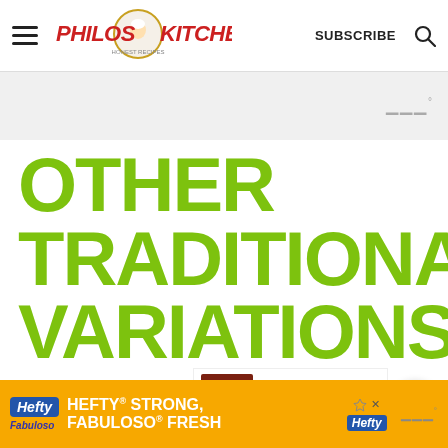Philos Kitchen — SUBSCRIBE
OTHER TRADITIONAL VARIATIONS
Some tasting Salmoriglio variations are typical in Sicily.
[Figure (screenshot): WHAT'S NEXT arrow: HOMEMADE SUN-DRIED... with thumbnail image]
[Figure (screenshot): Ad banner: Hefty STRONG, Fabuloso FRESH advertisement]